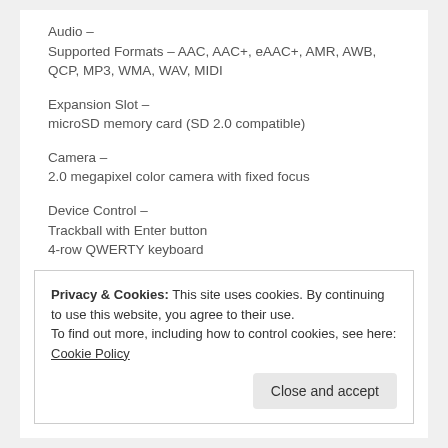Audio –
Supported Formats – AAC, AAC+, eAAC+, AMR, AWB, QCP, MP3, WMA, WAV, MIDI
Expansion Slot –
microSD memory card (SD 2.0 compatible)
Camera –
2.0 megapixel color camera with fixed focus
Device Control –
Trackball with Enter button
4-row QWERTY keyboard
Talk Time –
Up to 300 minutes for WCDMA
Up to 510 minutes for GSM (manufactures approximation)
Privacy & Cookies: This site uses cookies. By continuing to use this website, you agree to their use.
To find out more, including how to control cookies, see here: Cookie Policy